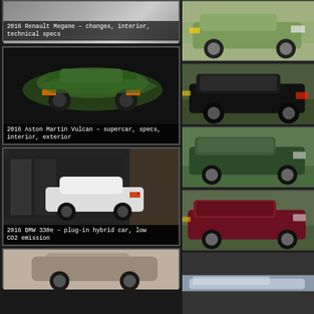[Figure (photo): 2016 Renault Megane article card with caption overlay]
2016 Renault Megane – changes, interior, technical specs
[Figure (photo): 2016 Aston Martin Vulcan green supercar rear/side view]
2016 Aston Martin Vulcan – supercar, specs, interior, exterior
[Figure (photo): 2016 BMW 330e plug-in hybrid white car side view]
2016 BMW 330e – plug-in hybrid car, low CO2 emission
[Figure (photo): Car partially shown at bottom left]
[Figure (photo): Honda CR-V SUV green/khaki color, right side view]
[Figure (photo): Honda CR-V SUV black color, front-right view]
[Figure (photo): Honda CR-V SUV dark green color, front-right view]
[Figure (photo): Honda CR-V SUV burgundy/maroon color, front-right view]
[Figure (photo): Honda CR-V SUV light color, partial view at bottom]